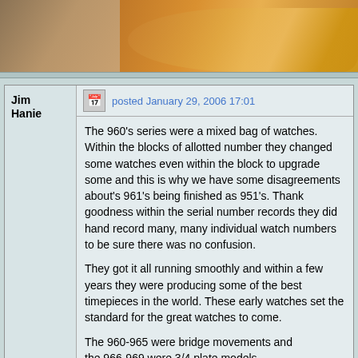[Figure (photo): Close-up photograph of a gold watch or ring, showing warm golden/copper tones with curved metallic surfaces]
posted January 29, 2006 17:01
Jim Hanie
The 960's series were a mixed bag of watches. Within the blocks of allotted number they changed some watches even within the block to upgrade some and this is why we have some disagreements about's 961's being finished as 951's. Thank goodness within the serial number records they did hand record many, many individual watch numbers to be sure there was no confusion.
They got it all running smoothly and within a few years they were producing some of the best timepieces in the world. These early watches set the standard for the great watches to come.
The 960-965 were bridge movements and the 966-969 were 3/4 plate models.
This is a estimate of production numbers of the 60's series. They are all limited production watches, except the 960, and highly collectable. WHY?
THEY DON'T MAKE THEM ANYMORE!